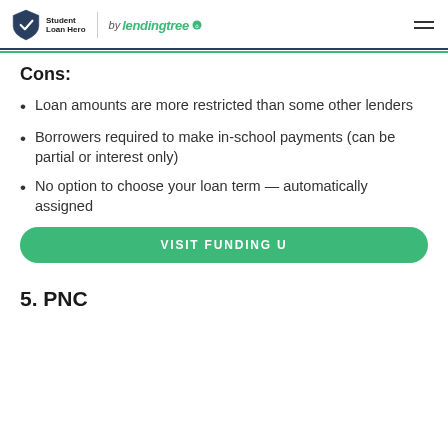Student Loan Hero | lendingtree
Cons:
Loan amounts are more restricted than some other lenders
Borrowers required to make in-school payments (can be partial or interest only)
No option to choose your loan term — automatically assigned
VISIT FUNDING U
5. PNC